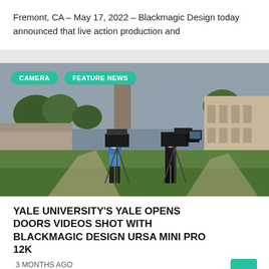Fremont, CA – May 17, 2022 – Blackmagic Design today announced that live action production and
[Figure (photo): Two camera operators filming on a university campus lawn with Gothic-style stone buildings in the background on a cloudy day. Tags: CAMERA, FEATURE NEWS.]
YALE UNIVERSITY'S YALE OPENS DOORS VIDEOS SHOT WITH BLACKMAGIC DESIGN URSA MINI PRO 12K
3 MONTHS AGO
Fremont, CA – May 11, 2022 – Blackmagic Design today